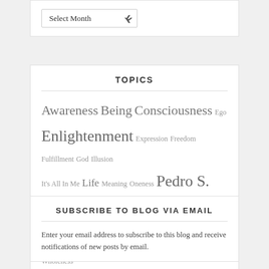[Figure (other): Dropdown widget labeled 'Select Month' with a chevron arrow]
TOPICS
Awareness Being Consciousness Ego Enlightenment Expression Freedom Fulfillment God Illusion It's All In Me Life Meaning Oneness Pedro S. Silva II Poetry Self Realization Transcendence Truth Wholeness
SUBSCRIBE TO BLOG VIA EMAIL
Enter your email address to subscribe to this blog and receive notifications of new posts by email.